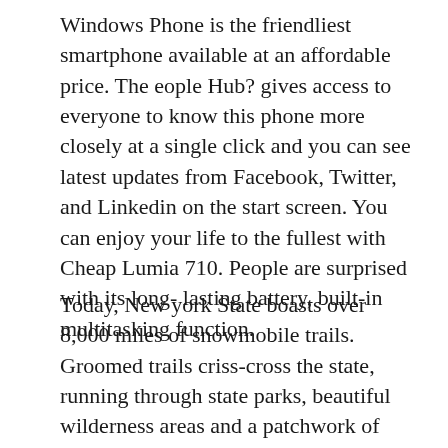Windows Phone is the friendliest smartphone available at an affordable price. The eople Hub? gives access to everyone to know this phone more closely at a single click and you can see latest updates from Facebook, Twitter, and Linkedin on the start screen. You can enjoy your life to the fullest with Cheap Lumia 710. People are surprised with its long- lasting battery, built-in multitasking function.
Today, New york State boasts over 8,000 miles of snowmobile trails. Groomed trails criss-cross the state, running through state parks, beautiful wilderness areas and a patchwork of private and public land. Plus, NYS is just lucky enough to get lots of snow. The Tug Hill